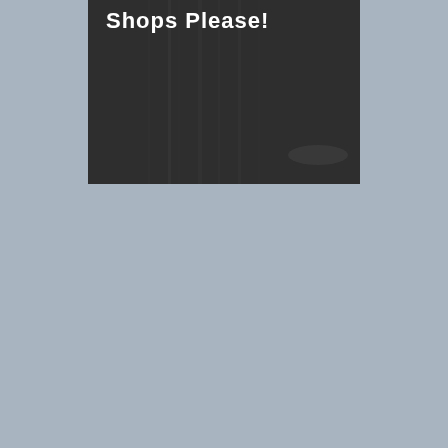[Figure (photo): A dark chalkboard-style image with white bold text reading 'Shops Please!' visible at the top portion. The background is a dark charcoal/blackboard texture.]